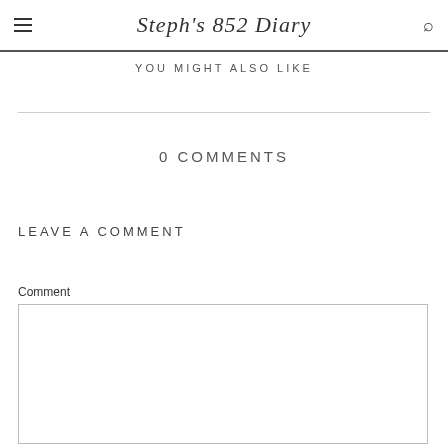Steph's 852 Diary
YOU MIGHT ALSO LIKE
0 COMMENTS
LEAVE A COMMENT
Comment